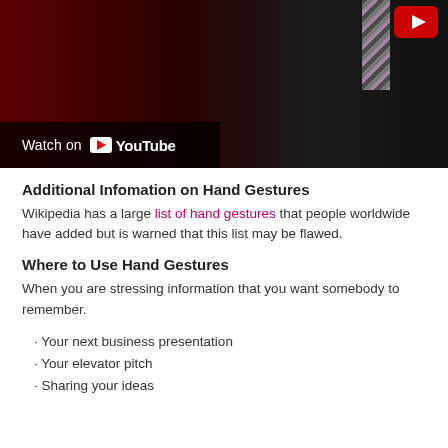[Figure (screenshot): YouTube video thumbnail showing a man in a dark suit/vest with a striped tie against a dark red curtain background, with a YouTube play button overlay and 'Watch on YouTube' bar at the bottom left.]
Additional Infomation on Hand Gestures
Wikipedia has a large list of hand gestures that people worldwide have added but is warned that this list may be flawed.
Where to Use Hand Gestures
When you are stressing information that you want somebody to remember.
Your next business presentation
Your elevator pitch
Sharing your ideas